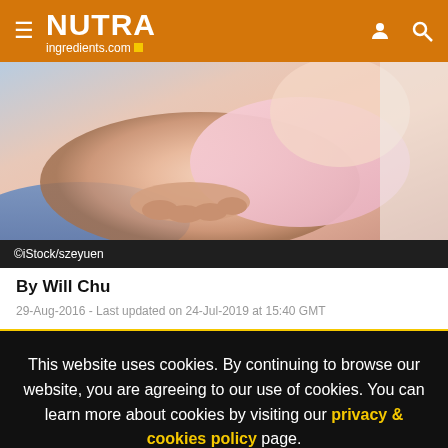NUTRAingredients.com
[Figure (photo): A person holding a baby dressed in pink clothing, close-up of hands cradling the infant.]
©iStock/szeyuen
By Will Chu
29-Aug-2016 - Last updated on 24-Jul-2019 at 15:40 GMT
This website uses cookies. By continuing to browse our website, you are agreeing to our use of cookies. You can learn more about cookies by visiting our privacy & cookies policy page.
I Agree